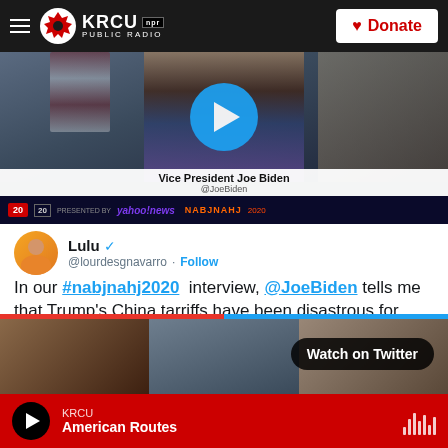KRCU NPR PUBLIC RADIO | Donate
[Figure (screenshot): Video thumbnail of Vice President Joe Biden (@JoeBiden) with play button overlay, Yahoo News branding at the bottom]
Lulu ✓ @lourdesgnavarro · Follow
In our #nabjnahj2020 interview, @JoeBiden tells me that Trump's China tarriffs have been disastrous for business and farming. Watch our exchange here:
[Figure (screenshot): Watch on Twitter button overlay on a video thumbnail showing interview participants]
KRCU American Routes